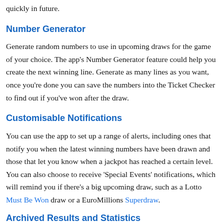quickly in future.
Number Generator
Generate random numbers to use in upcoming draws for the game of your choice. The app's Number Generator feature could help you create the next winning line. Generate as many lines as you want, once you're done you can save the numbers into the Ticket Checker to find out if you've won after the draw.
Customisable Notifications
You can use the app to set up a range of alerts, including ones that notify you when the latest winning numbers have been drawn and those that let you know when a jackpot has reached a certain level. You can also choose to receive 'Special Events' notifications, which will remind you if there's a big upcoming draw, such as a Lotto Must Be Won draw or a EuroMillions Superdraw.
Archived Results and Statistics